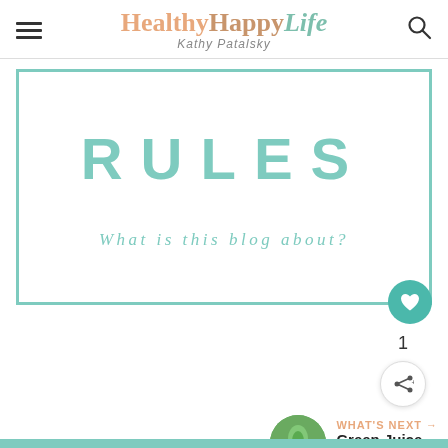Healthy Happy Life — Kathy Patalsky
[Figure (illustration): Featured blog card with teal border showing large text 'RULES' and italic text 'What is this blog about?' with a teal heart button in bottom right corner]
1
WHAT'S NEXT → Green Juice 101. How-to.
FEATURED: PEACH COCONUT WATER SMOOTHIE